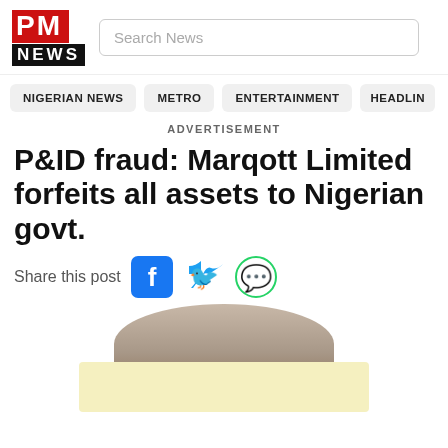PM NEWS
Search News
NIGERIAN NEWS  METRO  ENTERTAINMENT  HEADLIN
ADVERTISEMENT
P&ID fraud: Marqott Limited forfeits all assets to Nigerian govt.
Share this post
[Figure (photo): Photo of a person (head), partially shown, with a yellow advertisement banner overlay at the bottom]